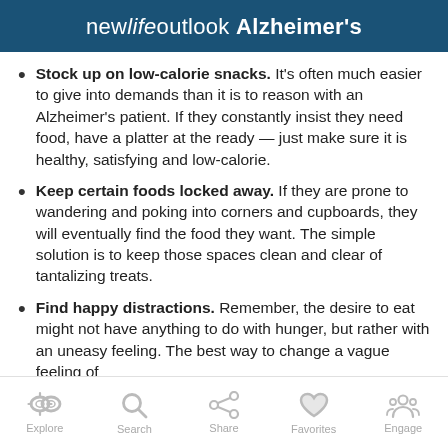new life outlook Alzheimer's
Stock up on low-calorie snacks. It's often much easier to give into demands than it is to reason with an Alzheimer's patient. If they constantly insist they need food, have a platter at the ready — just make sure it is healthy, satisfying and low-calorie.
Keep certain foods locked away. If they are prone to wandering and poking into corners and cupboards, they will eventually find the food they want. The simple solution is to keep those spaces clean and clear of tantalizing treats.
Find happy distractions. Remember, the desire to eat might not have anything to do with hunger, but rather with an uneasy feeling. The best way to change a vague feeling of
Explore   Search   Share   Favorites   Engage